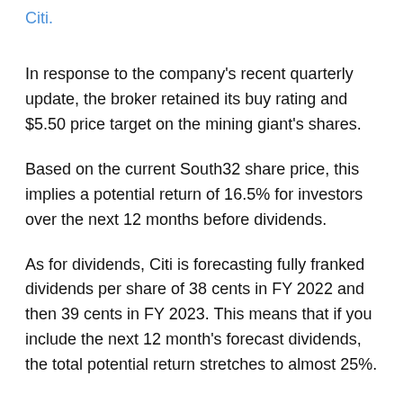Citi.
In response to the company's recent quarterly update, the broker retained its buy rating and $5.50 price target on the mining giant's shares.
Based on the current South32 share price, this implies a potential return of 16.5% for investors over the next 12 months before dividends.
As for dividends, Citi is forecasting fully franked dividends per share of 38 cents in FY 2022 and then 39 cents in FY 2023. This means that if you include the next 12 month's forecast dividends, the total potential return stretches to almost 25%.